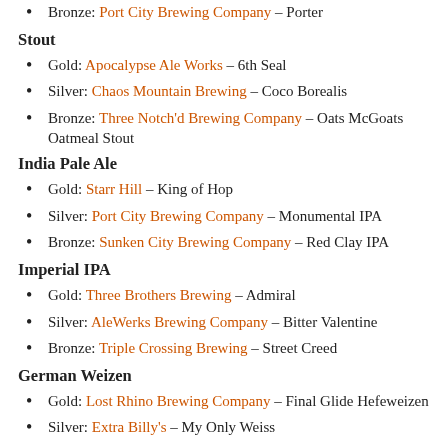Bronze: Port City Brewing Company – Porter
Stout
Gold: Apocalypse Ale Works – 6th Seal
Silver: Chaos Mountain Brewing – Coco Borealis
Bronze: Three Notch'd Brewing Company – Oats McGoats Oatmeal Stout
India Pale Ale
Gold: Starr Hill – King of Hop
Silver: Port City Brewing Company – Monumental IPA
Bronze: Sunken City Brewing Company – Red Clay IPA
Imperial IPA
Gold: Three Brothers Brewing – Admiral
Silver: AleWerks Brewing Company – Bitter Valentine
Bronze: Triple Crossing Brewing – Street Creed
German Weizen
Gold: Lost Rhino Brewing Company – Final Glide Hefeweizen
Silver: Extra Billy's – My Only Weiss